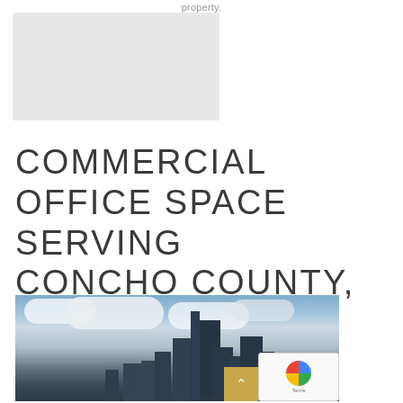property.
COMMERCIAL OFFICE SPACE SERVING CONCHO COUNTY, TX
[Figure (photo): City skyline with tall skyscrapers against a dramatic cloudy sky, representing commercial real estate in Concho County, TX]